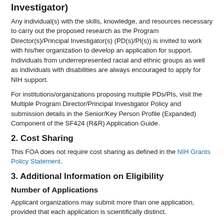Investigator)
Any individual(s) with the skills, knowledge, and resources necessary to carry out the proposed research as the Program Director(s)/Principal Investigator(s) (PD(s)/PI(s)) is invited to work with his/her organization to develop an application for support. Individuals from underrepresented racial and ethnic groups as well as individuals with disabilities are always encouraged to apply for NIH support.
For institutions/organizations proposing multiple PDs/PIs, visit the Multiple Program Director/Principal Investigator Policy and submission details in the Senior/Key Person Profile (Expanded) Component of the SF424 (R&R) Application Guide.
2. Cost Sharing
This FOA does not require cost sharing as defined in the NIH Grants Policy Statement.
3. Additional Information on Eligibility
Number of Applications
Applicant organizations may submit more than one application, provided that each application is scientifically distinct.
The NIH will not accept duplicate or highly overlapping